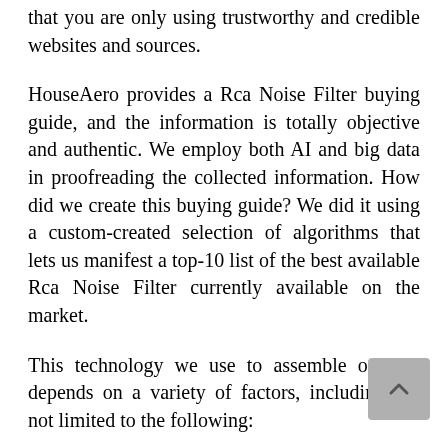that you are only using trustworthy and credible websites and sources.
HouseAero provides a Rca Noise Filter buying guide, and the information is totally objective and authentic. We employ both AI and big data in proofreading the collected information. How did we create this buying guide? We did it using a custom-created selection of algorithms that lets us manifest a top-10 list of the best available Rca Noise Filter currently available on the market.
This technology we use to assemble our list depends on a variety of factors, including but not limited to the following:
Brand Value: Every brand of Rca Noise Filter has a value all its own. Most brands offer some